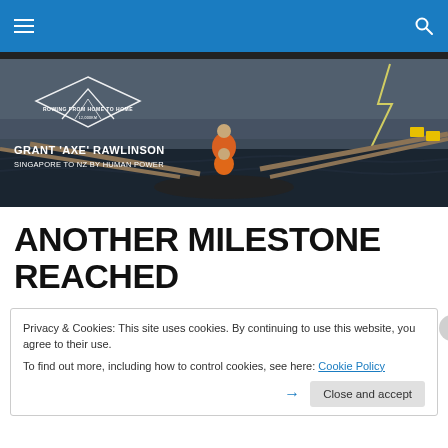Navigation bar with hamburger menu and search icon
[Figure (photo): Hero banner image showing rowers in a boat on rough ocean water during a storm with lightning, with a diamond-shaped logo overlay reading 'ROWING FROM HOME TO HOME' and text 'GRANT AXE RAWLINSON - SINGAPORE TO NZ BY HUMAN POWER']
ANOTHER MILESTONE REACHED
Privacy & Cookies: This site uses cookies. By continuing to use this website, you agree to their use.
To find out more, including how to control cookies, see here: Cookie Policy
Close and accept